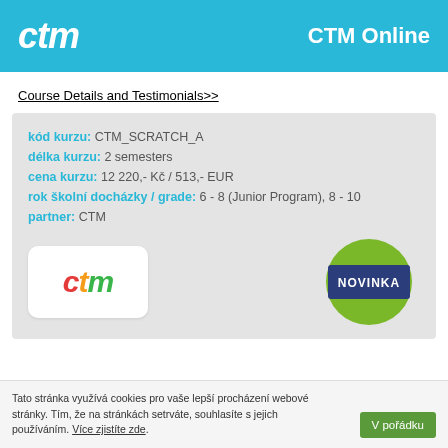ctm  CTM Online
Course Details and Testimonials>>
kód kurzu: CTM_SCRATCH_A
délka kurzu: 2 semesters
cena kurzu: 12 220,- Kč / 513,- EUR
rok školní docházky / grade: 6 - 8 (Junior Program), 8 - 10
partner: CTM
[Figure (logo): CTM logo: red c, orange t, green m in italic bold text on white rounded rectangle]
[Figure (logo): Novinka badge: dark blue rectangle with white NOVINKA text on green circle background]
Tato stránka využívá cookies pro vaše lepší procházení webové stránky. Tím, že na stránkách setrváte, souhlasíte s jejich používáním. Více zjistíte zde.
V pořádku